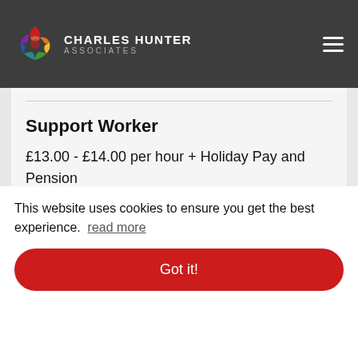Charles Hunter Associates
Support Worker
£13.00 - £14.00 per hour + Holiday Pay and Pension
Support Worker — £13.00 - £14.00 per hour + Holiday Pay and Pension (ghost/background)
This website uses cookies to ensure you get the best experience. read more
Got it!